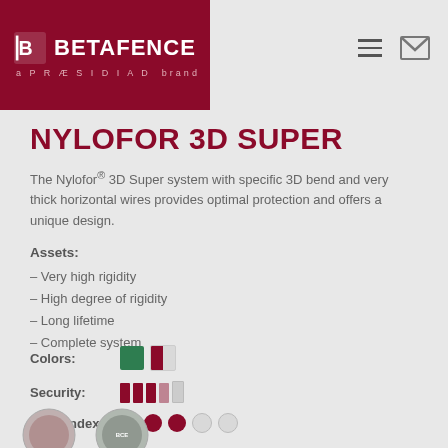BETAFENCE a PRÆSIDIAD brand
NYLOFOR 3D SUPER
The Nylofor® 3D Super system with specific 3D bend and very thick horizontal wires provides optimal protection and offers a unique design.
Assets:
– Very high rigidity
– High degree of rigidity
– Long lifetime
– Complete system
Colors: [green swatch] [half-red swatch]
Security: [3.5/4 bars]
Price index: [3/5 dots filled]